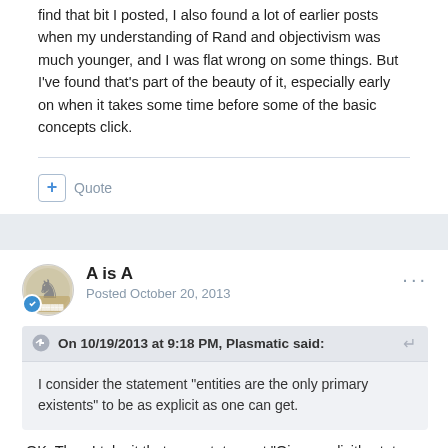find that bit I posted, I also found a lot of earlier posts when my understanding of Rand and objectivism was much younger, and I was flat wrong on some things. But I've found that's part of the beauty of it, especially early on when it takes some time before some of the basic concepts click.
+ Quote
A is A
Posted October 20, 2013
On 10/19/2013 at 9:18 PM, Plasmatic said:
I consider the statement "entities are the only primary existents" to be as explicit as one can get.
OK. Then I take it that your statement "Oism explicitly states that entities are causal primaries" is withdrawn.